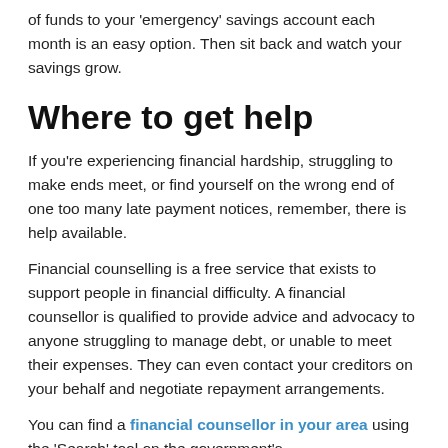of funds to your 'emergency' savings account each month is an easy option. Then sit back and watch your savings grow.
Where to get help
If you're experiencing financial hardship, struggling to make ends meet, or find yourself on the wrong end of one too many late payment notices, remember, there is help available.
Financial counselling is a free service that exists to support people in financial difficulty. A financial counsellor is qualified to provide advice and advocacy to anyone struggling to manage debt, or unable to meet their expenses. They can even contact your creditors on your behalf and negotiate repayment arrangements.
You can find a financial counsellor in your area using the 'Search' tool on the government's